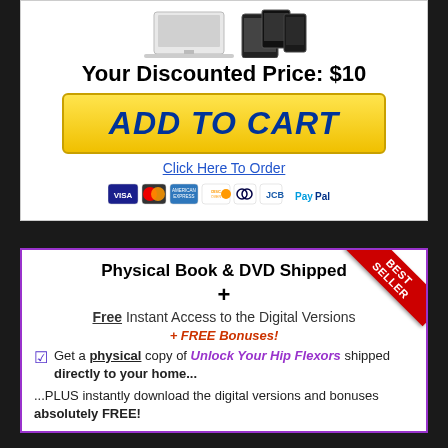[Figure (illustration): Product images showing a laptop/iMac and tablet/phone devices]
Your Discounted Price: $10
[Figure (other): Yellow ADD TO CART button]
Click Here To Order
[Figure (other): Payment method icons: Visa, Mastercard, American Express, Discover, Diners Club, JCB, PayPal]
Physical Book & DVD Shipped
+
Free Instant Access to the Digital Versions
+ FREE Bonuses!
Get a physical copy of Unlock Your Hip Flexors shipped directly to your home...
...PLUS instantly download the digital versions and bonuses absolutely FREE!